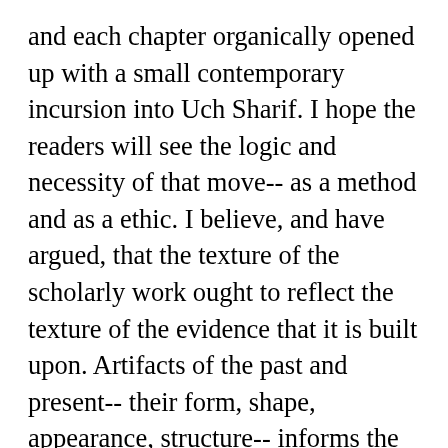and each chapter organically opened up with a small contemporary incursion into Uch Sharif. I hope the readers will see the logic and necessity of that move-- as a method and as a ethic. I believe, and have argued, that the texture of the scholarly work ought to reflect the texture of the evidence that it is built upon. Artifacts of the past and present-- their form, shape, appearance, structure-- informs the secondary analysis and revisitation that we understand as scholarly work. Any number of critical voices are available to buttress this observation-- Gloria Anzaldua, Carolyn Steedman, Greg Dening, Quratulain Hyder--